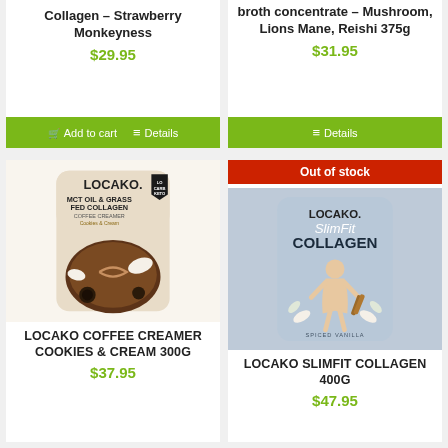Collagen – Strawberry Monkeyness
$29.95
broth concentrate – Mushroom, Lions Mane, Reishi 375g
$31.95
Add to cart
Details
Details
[Figure (photo): Locako MCT Oil & Grass Fed Collagen Coffee Creamer Cookies & Cream product bag]
[Figure (photo): Locako SlimFit Collagen Spiced Vanilla product bag with out of stock banner]
Out of stock
LOCAKO COFFEE CREAMER COOKIES & CREAM 300G
LOCAKO SLIMFIT COLLAGEN 400G
$37.95
$47.95